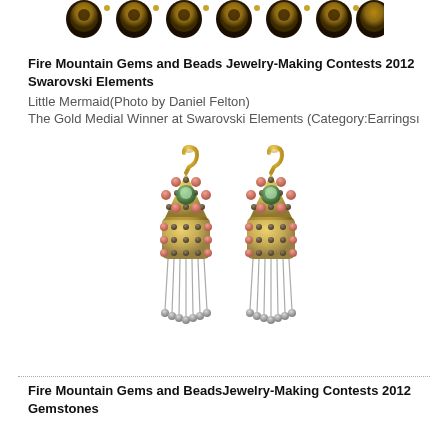[Figure (photo): Top portion of a beaded bracelet with dark brown/gold beaded pattern, partially visible at top of page]
Fire Mountain Gems and Beads Jewelry-Making Contests 2012 Swarovski Elements
Little Mermaid(Photo by Daniel Felton)
The Gold Medial Winner at Swarovski Elements (Category:Earringsı
[Figure (photo): Two ornate earrings with gold hooks, beaded triangular tops with pink and green center stones, and long silver bead fringe, displayed on white background]
Fire Mountain Gems and BeadsJewelry-Making Contests 2012 Gemstones